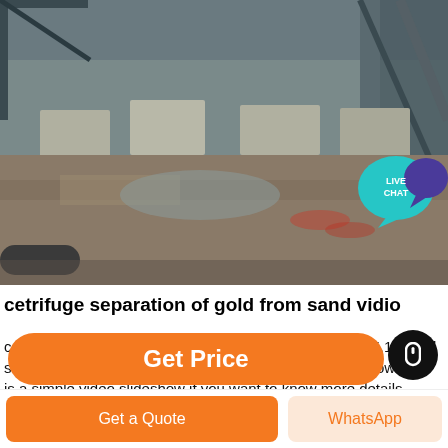[Figure (photo): Industrial mining site showing concrete foundations and equipment on a sandy/muddy ground, with structural metal framework visible. A 'LIVE CHAT' speech bubble overlay in teal/purple appears in the top-right area.]
cetrifuge separation of gold from sand vidio
centrifugal gold separator with simple structure - YSJ. 15.12 Gold separation by smelting Knelson concentrator Knudson bowl This is a simple video slideshow if you want to know more details please Centrifuge Gold edgecomfere gold mine simple structure granite impact crusher sand
Get Price
Get a Quote
WhatsApp